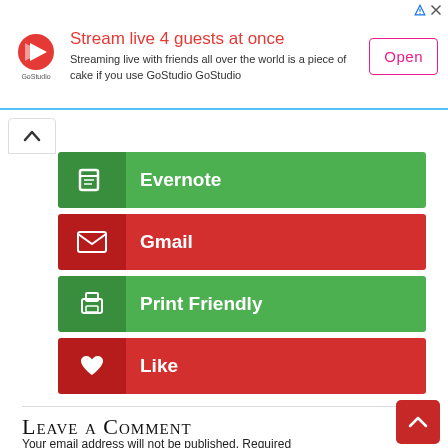[Figure (other): GoStudio advertisement banner with logo, headline 'Stream live 4 guests at once', description text, and Open button]
Evernote
Gmail
Print Friendly
Like
Leave a Comment
Your email address will not be published. Required